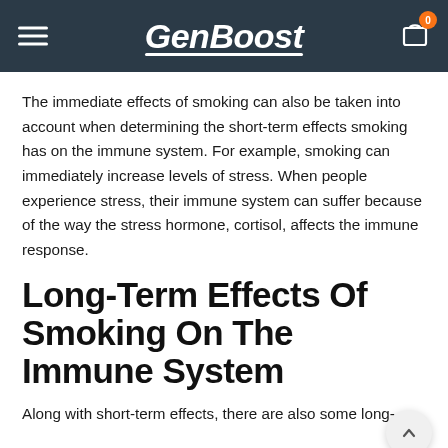GenBoost
The immediate effects of smoking can also be taken into account when determining the short-term effects smoking has on the immune system. For example, smoking can immediately increase levels of stress. When people experience stress, their immune system can suffer because of the way the stress hormone, cortisol, affects the immune response.
Long-Term Effects Of Smoking On The Immune System
Along with short-term effects, there are also some long-